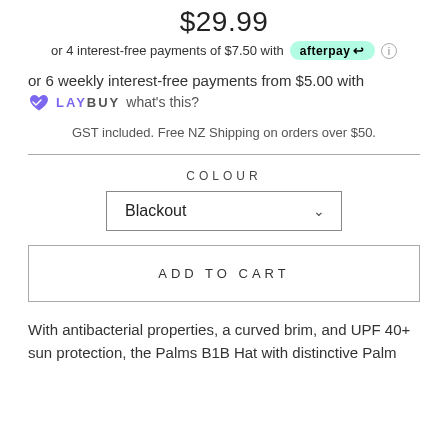$29.99
or 4 interest-free payments of $7.50 with afterpay
or 6 weekly interest-free payments from $5.00 with LAYBUY what's this?
GST included. Free NZ Shipping on orders over $50.
COLOUR
Blackout
ADD TO CART
With antibacterial properties, a curved brim, and UPF 40+ sun protection, the Palms B1B Hat with distinctive Palm